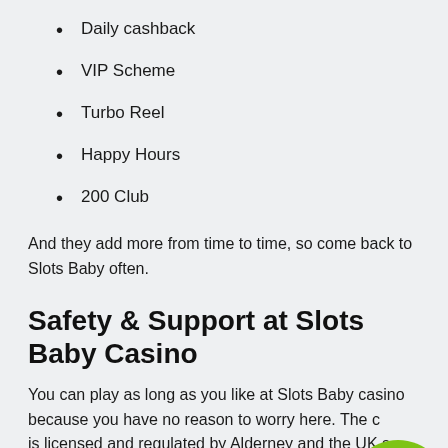Daily cashback
VIP Scheme
Turbo Reel
Happy Hours
200 Club
And they add more from time to time, so come back to Slots Baby often.
Safety & Support at Slots Baby Casino
You can play as long as you like at Slots Baby casino because you have no reason to worry here. The casino is licensed and regulated by Alderney and the UK so you are super safe.